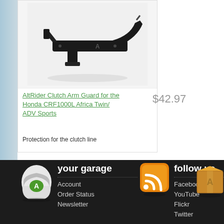[Figure (photo): Product photo of AltRider Clutch Arm Guard - black metal bracket/guard component for Honda CRF1000L Africa Twin]
AltRider Clutch Arm Guard for the Honda CRF1000L Africa Twin/ ADV Sports
$42.97
Protection for the clutch line
[Figure (illustration): White motorcycle helmet icon with green A logo]
your garage
Account
Order Status
Newsletter
[Figure (illustration): Orange RSS feed icon]
follow us
Facebook
YouTube
Flickr
Twitter
[Figure (illustration): Brown cardboard shipping box icon with A logo]